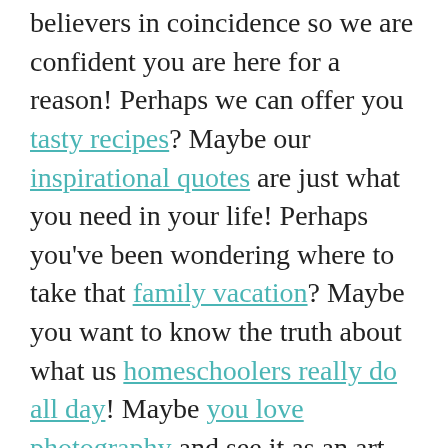believers in coincidence so we are confident you are here for a reason! Perhaps we can offer you tasty recipes? Maybe our inspirational quotes are just what you need in your life! Perhaps you've been wondering where to take that family vacation? Maybe you want to know the truth about what us homeschoolers really do all day! Maybe you love photography and see it as an art, just like me! Whatever it is, it's clearly Destiny at its finest! Don't let this opening door of opportunity slam shut! Run through by subscribing to our newsletter 🙂
Some posts on this blog contain affiliate